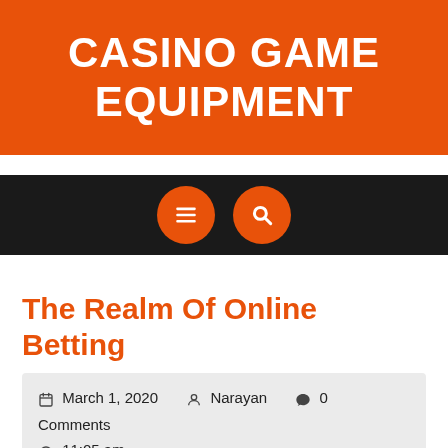CASINO GAME EQUIPMENT
[Figure (screenshot): Navigation bar with dark background containing two orange circular buttons: a hamburger menu icon and a search (magnifying glass) icon]
The Realm Of Online Betting
March 1, 2020   Narayan   0 Comments   11:05 am
The advent of technology has now made it feasible for individuals for taking to betting straight from the confines with their houses. There are numerous internet sites